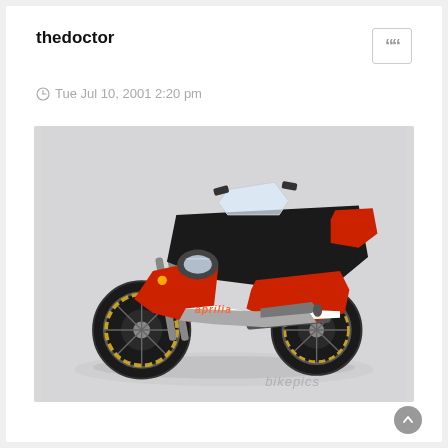thedoctor
Tue Jul 10, 2001 2:20 pm
[Figure (photo): Black and red Aprilia sportbike (RSV Mille) photographed against a light grey background. The motorcycle is shown from the left-front three-quarter angle. It features a black fairing with red lower sections, a clear windscreen, twin headlights, and spoke wheels with large brake discs. The bikepics.com watermark is visible in the lower right corner of the image.]